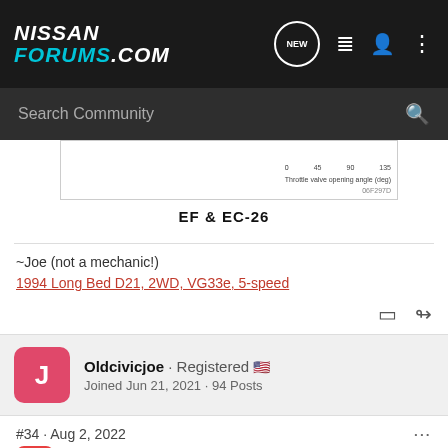NISSAN FORUMS.COM
Search Community
[Figure (other): Partial chart snippet showing throttle valve opening angle axis labels: 0, 45, 90, 135, with label 'Throttle valve opening angle (deg)' and code '06F297D']
EF & EC-26
~Joe (not a mechanic!)
1994 Long Bed D21, 2WD, VG33e, 5-speed
Oldcivicjoe · Registered 🇺🇸
Joined Jun 21, 2021 · 94 Posts
#34 · Aug 2, 2022